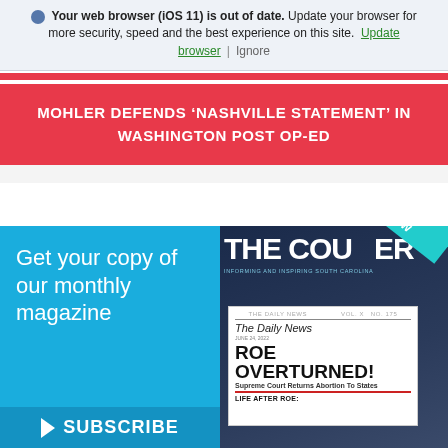Your web browser (iOS 11) is out of date. Update your browser for more security, speed and the best experience on this site. Update browser | Ignore
MOHLER DEFENDS ‘NASHVILLE STATEMENT’ IN WASHINGTON POST OP-ED
[Figure (illustration): Left blue advertisement panel reading 'Get your copy of our monthly magazine' with a SUBSCRIBE button at bottom]
[Figure (photo): Magazine cover 'THE COURIER' with 'READ NOW' ribbon, showing a newspaper with headline 'ROE OVERTURNED! Supreme Court Returns Abortion To States' and 'LIFE AFTER ROE:' at the bottom]